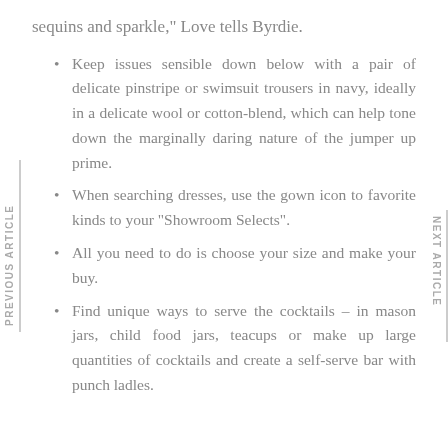sequins and sparkle," Love tells Byrdie.
Keep issues sensible down below with a pair of delicate pinstripe or swimsuit trousers in navy, ideally in a delicate wool or cotton-blend, which can help tone down the marginally daring nature of the jumper up prime.
When searching dresses, use the gown icon to favorite kinds to your "Showroom Selects".
All you need to do is choose your size and make your buy.
Find unique ways to serve the cocktails – in mason jars, child food jars, teacups or make up large quantities of cocktails and create a self-serve bar with punch ladles.